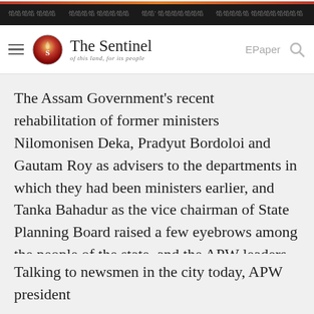The Sentinel – of this land, for its people
The Assam Government's recent rehabilitation of former ministers Nilomonisen Deka, Pradyut Bordoloi and Gautam Roy as advisers to the departments in which they had been ministers earlier, and Tanka Bahadur as the vice chairman of State Planning Board raised a few eyebrows among the people of the state, and the APW leaders are some among them.
Talking to newsmen in the city today, APW president